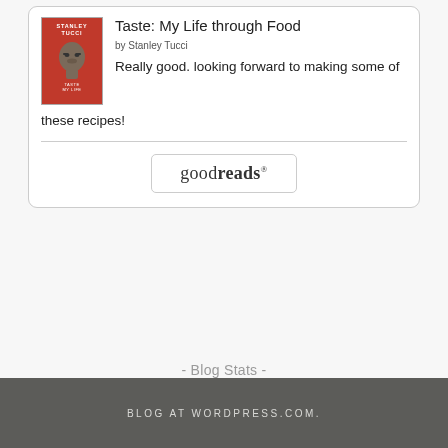[Figure (illustration): Book cover of 'Taste: My Life through Food' by Stanley Tucci, red background with author photo]
Taste: My Life through Food
by Stanley Tucci
Really good. looking forward to making some of these recipes!
[Figure (logo): Goodreads button/logo in a rounded rectangle border]
- Blog Stats -
168,864 hits
BLOG AT WORDPRESS.COM.